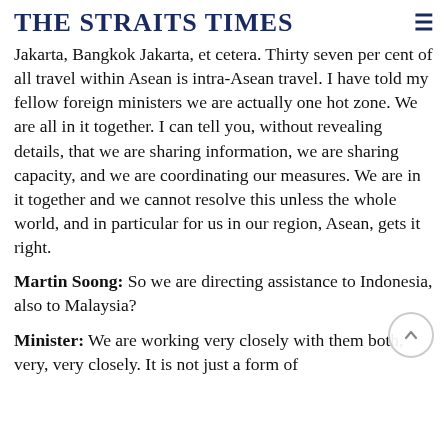THE STRAITS TIMES
Jakarta, Bangkok Jakarta, et cetera. Thirty seven per cent of all travel within Asean is intra-Asean travel. I have told my fellow foreign ministers we are actually one hot zone. We are all in it together. I can tell you, without revealing details, that we are sharing information, we are sharing capacity, and we are coordinating our measures. We are in it together and we cannot resolve this unless the whole world, and in particular for us in our region, Asean, gets it right.
Martin Soong: So we are directing assistance to Indonesia, also to Malaysia?
Minister: We are working very closely with them both, very, very closely. It is not just a form of